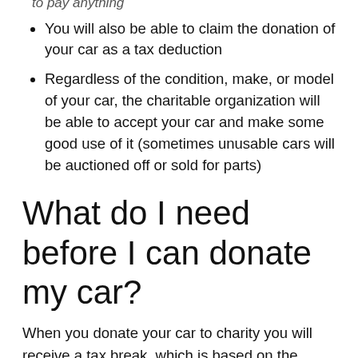to pay anything
You will also be able to claim the donation of your car as a tax deduction
Regardless of the condition, make, or model of your car, the charitable organization will be able to accept your car and make some good use of it (sometimes unusable cars will be auctioned off or sold for parts)
What do I need before I can donate my car?
When you donate your car to charity you will receive a tax break, which is based on the value of your car. However, before you [truncated]